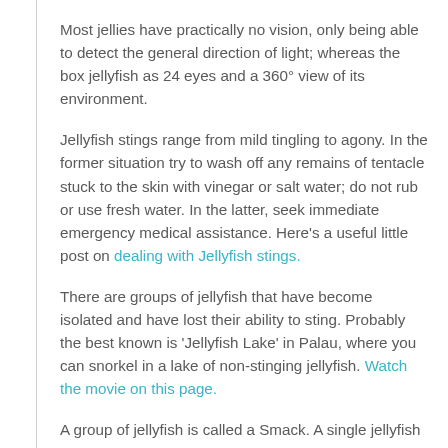Most jellies have practically no vision, only being able to detect the general direction of light; whereas the box jellyfish as 24 eyes and a 360° view of its environment.
Jellyfish stings range from mild tingling to agony. In the former situation try to wash off any remains of tentacle stuck to the skin with vinegar or salt water; do not rub or use fresh water. In the latter, seek immediate emergency medical assistance. Here's a useful little post on dealing with Jellyfish stings.
There are groups of jellyfish that have become isolated and have lost their ability to sting. Probably the best known is 'Jellyfish Lake' in Palau, where you can snorkel in a lake of non-stinging jellyfish. Watch the movie on this page.
A group of jellyfish is called a Smack. A single jellyfish as is often called 'Bob'.
Because of their strange method of locomotion